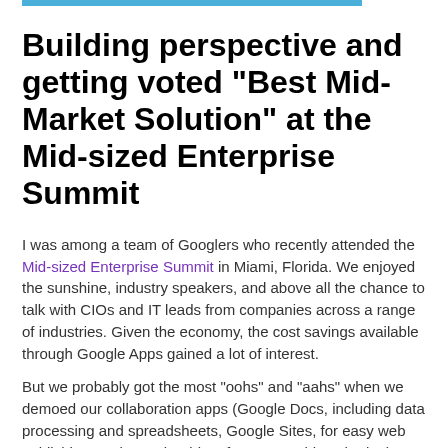Building perspective and getting voted "Best Mid-Market Solution" at the Mid-sized Enterprise Summit
I was among a team of Googlers who recently attended the Mid-sized Enterprise Summit in Miami, Florida. We enjoyed the sunshine, industry speakers, and above all the chance to talk with CIOs and IT leads from companies across a range of industries. Given the economy, the cost savings available through Google Apps gained a lot of interest.
But we probably got the most "oohs" and "aahs" when we demoed our collaboration apps (Google Docs, including data processing and spreadsheets, Google Sites, for easy web publishing, and Google Video, for secure video sharing). We're always satisfied when we see "the light go on" as newcomers to these products realize what they enable that just isn't available with traditional desktop apps.
Geoffrey Moore set the context for the conference, and indeed, for our message with Google Apps. The well known...